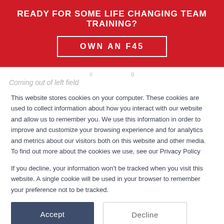READY FOR SOME LIFE CHANGING TEAM TRAINING?
OWN AN F45
Coming out of left field
This website stores cookies on your computer. These cookies are used to collect information about how you interact with our website and allow us to remember you. We use this information in order to improve and customize your browsing experience and for analytics and metrics about our visitors both on this website and other media. To find out more about the cookies we use, see our Privacy Policy
If you decline, your information won't be tracked when you visit this website. A single cookie will be used in your browser to remember your preference not to be tracked.
Accept
Decline